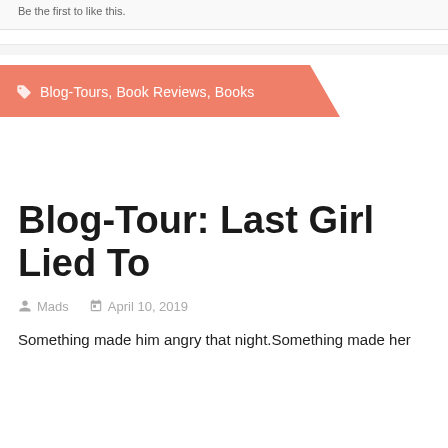Be the first to like this.
Blog-Tours, Book Reviews, Books
Blog-Tour: Last Girl Lied To
Mads   April 10, 2019
Something made him angry that night.Something made her